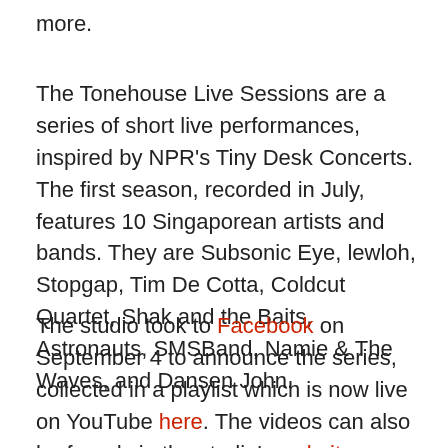more.
The Tonehouse Live Sessions are a series of short live performances, inspired by NPR's Tiny Desk Concerts. The first season, recorded in July, features 10 Singaporean artists and bands. They are Subsonic Eye, lewloh, Stopgap, Tim De Cotta, Coldcut Quartet, Shak and the Baits, Astronauts, SMSBand, Namie & The Waves, and Dansen John.
The studio took to Facebook on September 4 to announce the series, collected in a playlist which is now live on YouTube here. The videos can also be found via the studio's website.